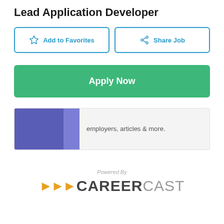Lead Application Developer
Add to Favorites
Share Job
Apply Now
employers, articles & more.
[Figure (logo): CareerCast logo with signal/wifi arc icon in orange and CAREER in dark bold text, CAST in grey text, with 'Powered By' above in italic grey]